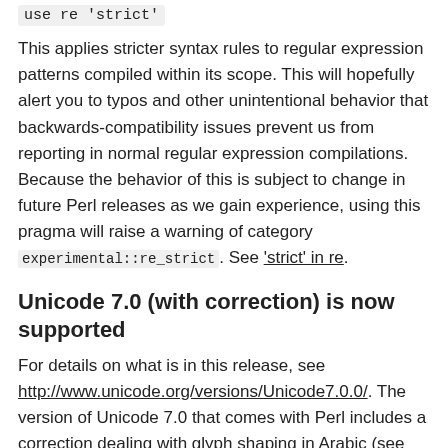use re 'strict'
This applies stricter syntax rules to regular expression patterns compiled within its scope. This will hopefully alert you to typos and other unintentional behavior that backwards-compatibility issues prevent us from reporting in normal regular expression compilations. Because the behavior of this is subject to change in future Perl releases as we gain experience, using this pragma will raise a warning of category experimental::re_strict. See 'strict' in re.
Unicode 7.0 (with correction) is now supported
For details on what is in this release, see http://www.unicode.org/versions/Unicode7.0.0/. The version of Unicode 7.0 that comes with Perl includes a correction dealing with glyph shaping in Arabic (see http://www.unicode.org/errata/#current_errata).
use locale  can restrict which locale